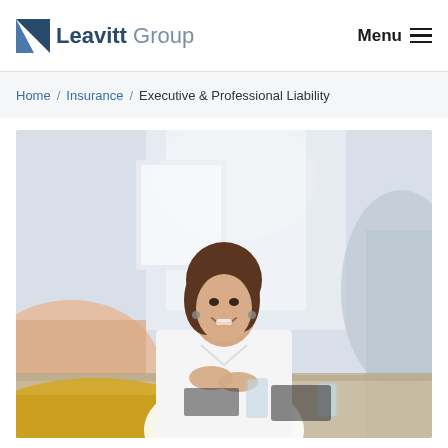Leavitt Group — Menu
Home / Insurance / Executive & Professional Liability
[Figure (photo): A smiling woman in a white blouse sitting at a conference table in a bright office meeting, with blurred colleagues on either side and water glasses on the table.]